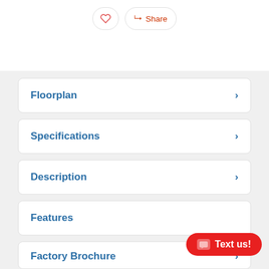[Figure (screenshot): Mobile app UI top bar with heart/favorite button and Share button]
Floorplan
Specifications
Description
Features
Factory Brochure
Text us!